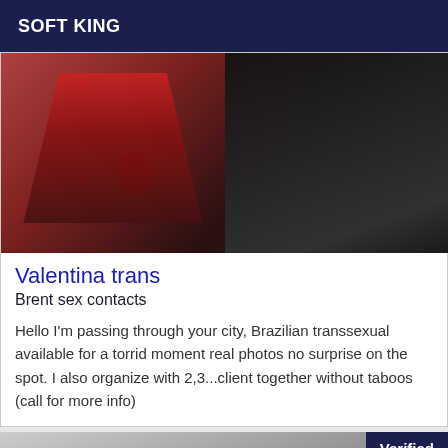SOFT KING
[Figure (photo): Partial photo showing a person in dark clothing, with red fabric and a framed artwork visible in the background]
Valentina trans
Brent sex contacts
Hello I'm passing through your city, Brazilian transsexual available for a torrid moment real photos no surprise on the spot. I also organize with 2,3...client together without taboos (call for more info)
[Figure (photo): Black and white photo of a person with long dark hair, partially visible, with a 'Verified' badge in the top right corner]